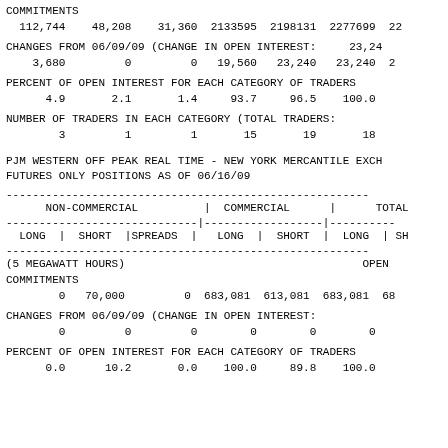COMMITMENTS
  112,744    48,208    31,360  2133595  2198131  2277699  22
CHANGES FROM 06/09/09 (CHANGE IN OPEN INTEREST:     23,24
    3,680         0         0   19,560   23,240   23,240  2
PERCENT OF OPEN INTEREST FOR EACH CATEGORY OF TRADERS
      4.9       2.1       1.4     93.7     96.5    100.0
NUMBER OF TRADERS IN EACH CATEGORY (TOTAL TRADERS:
        3         1         1       15       19       18
PJM WESTERN OFF PEAK REAL TIME - NEW YORK MERCANTILE EXCH
FUTURES ONLY POSITIONS AS OF 06/16/09
| NON-COMMERCIAL (LONG, SHORT, SPREADS) | COMMERCIAL (LONG, SHORT) | TOTAL (LONG, SHORT) |
| --- | --- | --- |
| (5 MEGAWATT HOURS) |  | OPEN |
| COMMITMENTS |  |  |
| 0  70,000    0 | 683,081  613,081 | 683,081  68 |
| CHANGES FROM 06/09/09 (CHANGE IN OPEN INTEREST:) |  |  |
| 0    0    0 | 0    0 | 0 |
| PERCENT OF OPEN INTEREST FOR EACH CATEGORY OF TRADERS |  |  |
| 0.0    10.2    0.0 | 100.0    89.8 | 100.0 |